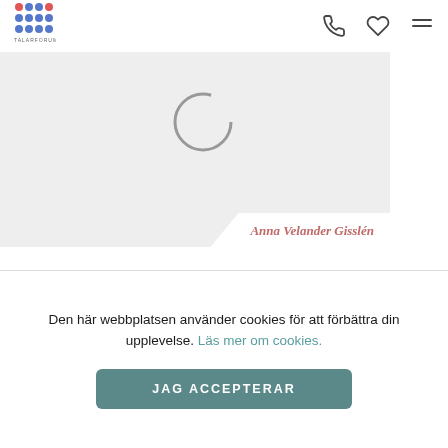TALARFORUM - navigation header with logo, phone, heart, and menu icons
[Figure (photo): Gray placeholder image area with a circular spinner/loading indicator. Name tag at bottom right reads 'Anna Velander Gisslén' in italic bold reddish text on white background with angled left edge.]
Artiklar
[Figure (photo): Gray placeholder card/image area, partially visible, loading spinner visible in center]
Den här webbplatsen använder cookies för att förbättra din upplevelse. Läs mer om cookies.
JAG ACCEPTERAR